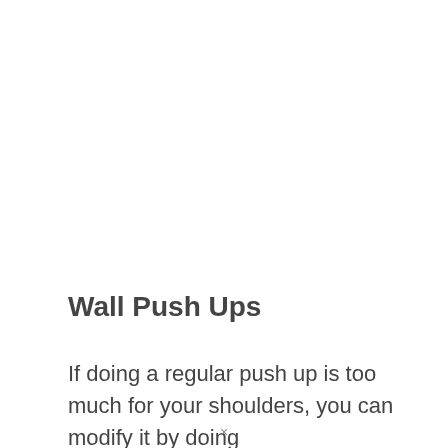Wall Push Ups
If doing a regular push up is too much for your shoulders, you can modify it by doing wall push ups. This exercise is somewhat the
×